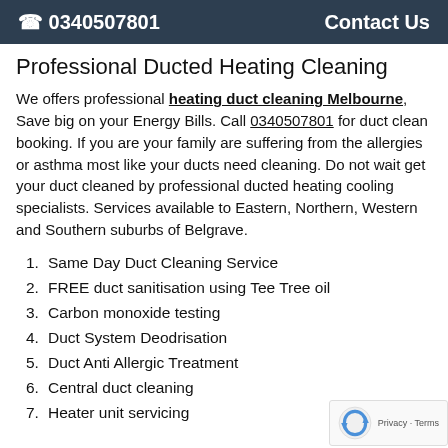☎ 0340507801   Contact Us
Professional Ducted Heating Cleaning
We offers professional heating duct cleaning Melbourne, Save big on your Energy Bills. Call 0340507801 for duct clean booking. If you are your family are suffering from the allergies or asthma most like your ducts need cleaning. Do not wait get your duct cleaned by professional ducted heating cooling specialists. Services available to Eastern, Northern, Western and Southern suburbs of Belgrave.
1. Same Day Duct Cleaning Service
2. FREE duct sanitisation using Tee Tree oil
3. Carbon monoxide testing
4. Duct System Deodrisation
5. Duct Anti Allergic Treatment
6. Central duct cleaning
7. Heater unit servicing